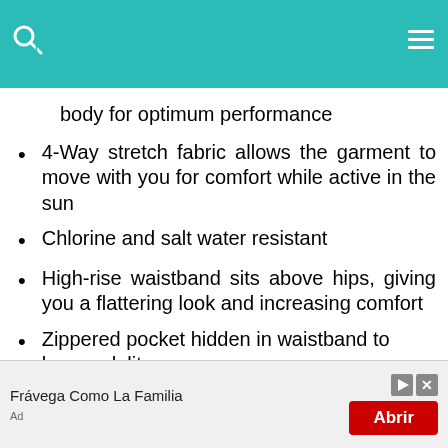SPF 50+ Sun Protection Certified • Designed to fit snug and streamline to the body for optimum performance
Designed to fit snug and streamline to the body for optimum performance
4-Way stretch fabric allows the garment to move with you for comfort while active in the sun
Chlorine and salt water resistant
High-rise waistband sits above hips, giving you a flattering look and increasing comfort
Zippered pocket hidden in waistband to keep valuables like keys and cards
[Figure (screenshot): Advertisement banner: Frávega Como La Familia with red Abrir button and ad controls]